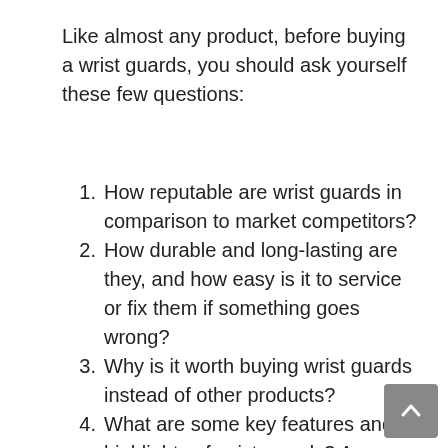Like almost any product, before buying a wrist guards, you should ask yourself these few questions:
How reputable are wrist guards in comparison to market competitors?
How durable and long-lasting are they, and how easy is it to service or fix them if something goes wrong?
Why is it worth buying wrist guards instead of other products?
What are some key features and highlights of wrist guards? Are those features worth it for your needs?
What are some positives and negatives of wrist guards, and how